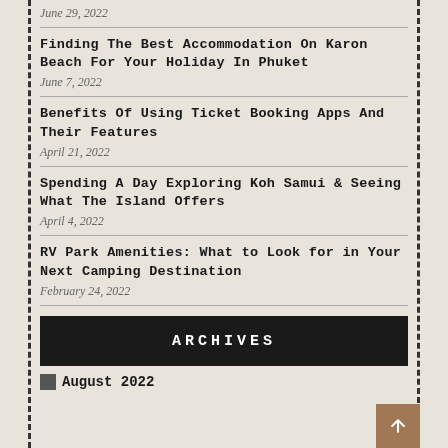June 29, 2022
Finding The Best Accommodation On Karon Beach For Your Holiday In Phuket
June 7, 2022
Benefits Of Using Ticket Booking Apps And Their Features
April 21, 2022
Spending A Day Exploring Koh Samui & Seeing What The Island Offers
April 4, 2022
RV Park Amenities: What to Look for in Your Next Camping Destination
February 24, 2022
ARCHIVES
August 2022